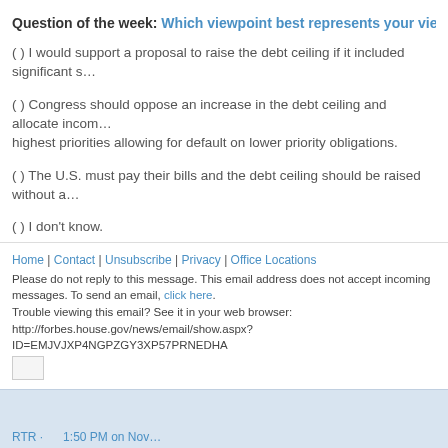Question of the week: Which viewpoint best represents your views on the…
( ) I would support a proposal to raise the debt ceiling if it included significant s…
( ) Congress should oppose an increase in the debt ceiling and allocate incoming… highest priorities allowing for default on lower priority obligations.
( ) The U.S. must pay their bills and the debt ceiling should be raised without a…
( ) I don't know.
( ) Other.
Take the poll here.
Find out the results of last week's instaPoll here.
Home | Contact | Unsubscribe | Privacy | Office Locations
Please do not reply to this message. This email address does not accept incoming messages. To send an email, click here.
Trouble viewing this email? See it in your web browser:
http://forbes.house.gov/news/email/show.aspx?ID=EMJVJXP4NGPZGY3XP57PRNEDHA